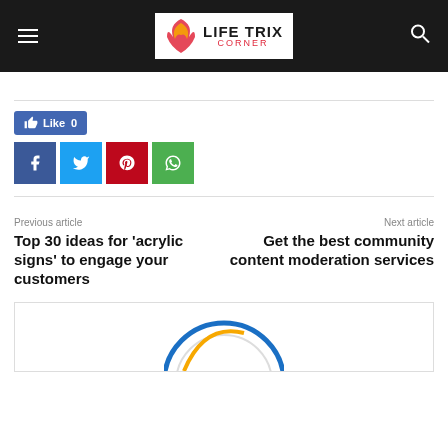Life Trix Corner
[Figure (logo): Social share bar with Facebook Like button (0 likes), and Facebook, Twitter, Pinterest, WhatsApp icon buttons]
Previous article
Top 30 ideas for 'acrylic signs' to engage your customers
Next article
Get the best community content moderation services
[Figure (logo): Partial circular logo/graphic at bottom of page, partially visible]